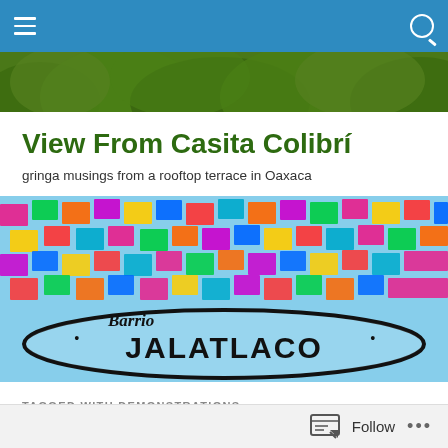View From Casita Colibrí — navigation bar
[Figure (photo): Tree canopy photo strip at top of blog page]
View From Casita Colibrí
gringa musings from a rooftop terrace in Oaxaca
[Figure (photo): Colorful paper flags (papel picado) with Barrio Jalatlaco sign arching across the bottom]
TAGGED WITH DEMONSTRATIONS
Oaxaca in Washington D.C.
Follow   ...